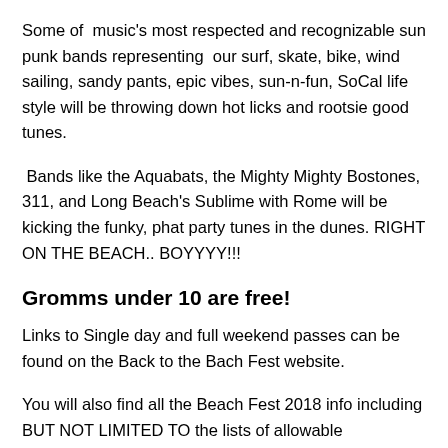Some of  music's most respected and recognizable sun punk bands representing  our surf, skate, bike, wind sailing, sandy pants, epic vibes, sun-n-fun, SoCal life style will be throwing down hot licks and rootsie good tunes.
Bands like the Aquabats, the Mighty Mighty Bostones, 311, and Long Beach's Sublime with Rome will be kicking the funky, phat party tunes in the dunes. RIGHT ON THE BEACH.. BOYYYY!!!
Gromms under 10 are free!
Links to Single day and full weekend passes can be found on the Back to the Bach Fest website.
You will also find all the Beach Fest 2018 info including BUT NOT LIMITED TO the lists of allowable